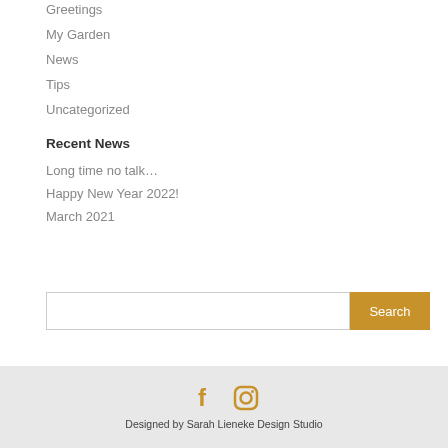Greetings
My Garden
News
Tips
Uncategorized
Recent News
Long time no talk…
Happy New Year 2022!
March 2021
[Figure (other): Search input box with Search button]
Designed by Sarah Lieneke Design Studio